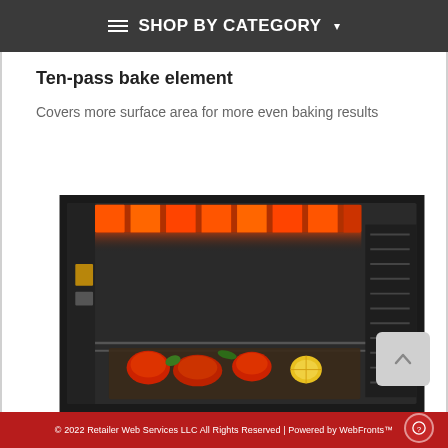≡ SHOP BY CATEGORY ▾
Ten-pass bake element
Covers more surface area for more even baking results
[Figure (photo): Interior view of an oven with glowing red heating element at the top and a tray of food (tomatoes, vegetables) on the bottom rack, dark metallic interior visible.]
© 2022 Retailer Web Services LLC All Rights Reserved | Powered by WebFronts™